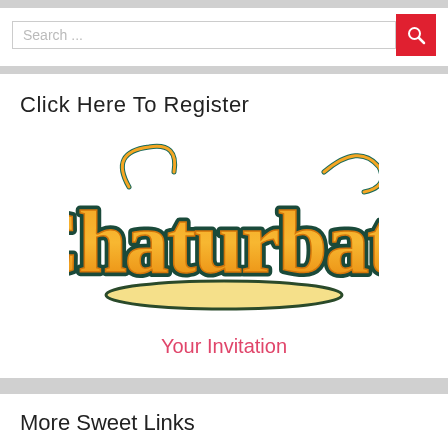Search ...
Click Here To Register
[Figure (logo): Chaturbate logo in orange and yellow script with teal/dark outline and underline]
Your Invitation
More Sweet Links
Find Singles in Ashburn!
Best Couples Room
Nude Asian Webcam Amateurs